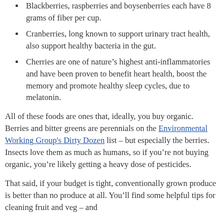Blackberries, raspberries and boysenberries each have 8 grams of fiber per cup.
Cranberries, long known to support urinary tract health, also support healthy bacteria in the gut.
Cherries are one of nature's highest anti-inflammatories and have been proven to benefit heart health, boost the memory and promote healthy sleep cycles, due to melatonin.
All of these foods are ones that, ideally, you buy organic. Berries and bitter greens are perennials on the Environmental Working Group's Dirty Dozen list – but especially the berries. Insects love them as much as humans, so if you're not buying organic, you're likely getting a heavy dose of pesticides.
That said, if your budget is tight, conventionally grown produce is better than no produce at all. You'll find some helpful tips for cleaning fruit and veg – and